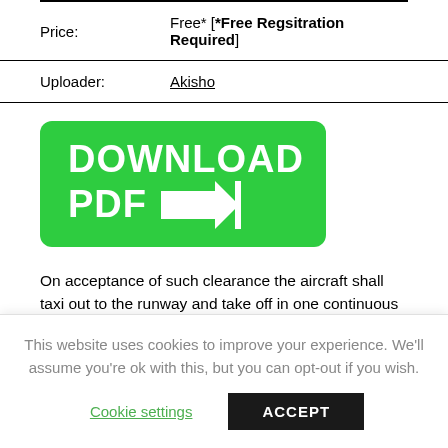| Price: | Free* [*Free Regsitration Required] |
| Uploader: | Akisho |
[Figure (illustration): Green download button with white bold text reading 'DOWNLOAD PDF' and a right-pointing arrow with a vertical bar]
On acceptance of such clearance the aircraft shall taxi out to the runway and take off in one continuous movement. Under ATC Zero conditions, normal flight operations are
This website uses cookies to improve your experience. We'll assume you're ok with this, but you can opt-out if you wish.
Cookie settings    ACCEPT